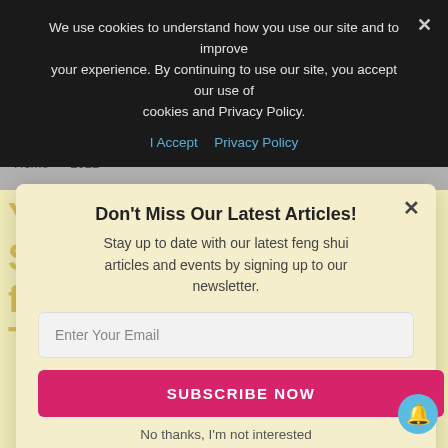We use cookies to understand how you use our site and to improve your experience. By continuing to use our site, you accept our use of cookies and Privacy Policy.
I Accept   Privacy Policy
Home › 2022
Your Luck & Lucky Symbols for the Year of the Water Tiger 2022
wors
Don't Miss Our Latest Articles!
Stay up to date with our latest feng shui articles and events by signing up to our newsletter.
Enter Your Email
SUBSCRIBE NOW
No thanks, I'm not interested